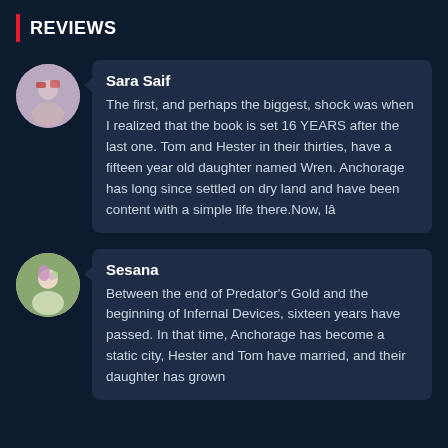REVIEWS
Sara Saif
The first, and perhaps the biggest, shock was when I realized that the book is set 16 YEARS after the last one. Tom and Hester in their thirties, have a fifteen year old daughter named Wren. Anchorage has long since settled on dry land and have been content with a simple life there.Now, Iâ
Sesana
Between the end of Predator's Gold and the beginning of Infernal Devices, sixteen years have passed. In that time, Anchorage has become a static city, Hester and Tom have married, and their daughter has grown